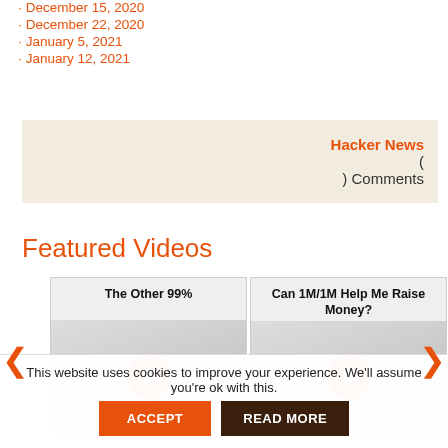December 15, 2020
December 22, 2020
January 5, 2021
January 12, 2021
Hacker News
(
) Comments
Featured Videos
[Figure (screenshot): Video thumbnail card: The Other 99%]
[Figure (screenshot): Video thumbnail card: Can 1M/1M Help Me Raise Money?]
This website uses cookies to improve your experience. We'll assume you're ok with this. ACCEPT READ MORE